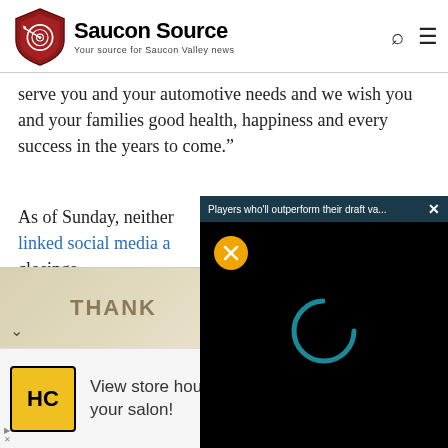Saucon Source — Your source for Saucon Valley news
serve you and your automotive needs and we wish you and your families good health, happiness and every success in the years to come.”
As of Sunday, neither linked social media a… closings.
[Figure (screenshot): Video overlay popup with dark header bar reading 'Players who'll outperform their draft va...' with X close button, mute button, and loading spinner on black background]
[Figure (screenshot): Thumbnail strip with thank you image partially visible]
[Figure (infographic): Advertisement banner: HC logo, 'View store hours, get directions, or call your salon!' with navigation diamond icon]